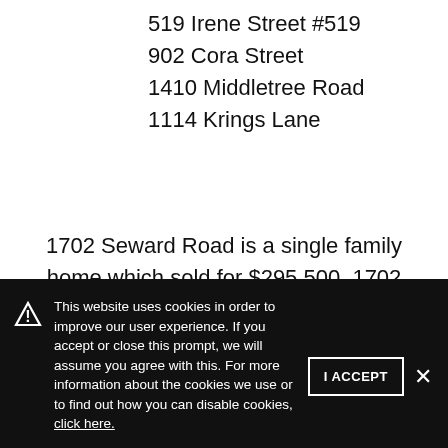519 Irene Street #519
902 Cora Street
1410 Middletree Road
1114 Krings Lane
1702 Seward Road is a single family home which sold for $295,500. 1702 Seward Road features 3 bedroom(s) and 2.1 bath(s). This single family home has been listed on @properties since April 5th, 2021 and was built in 2014. Want to learn
This website uses cookies in order to improve our user experience. If you accept or close this prompt, we will assume you agree with this. For more information about the cookies we use or to find out how you can disable cookies, click here.